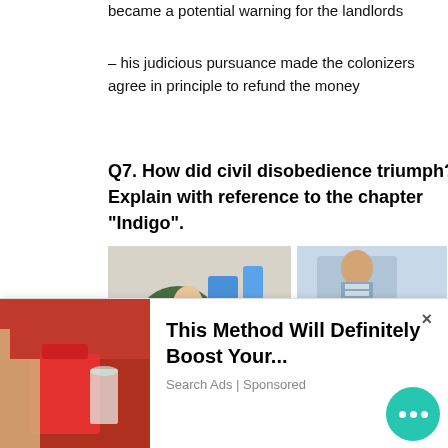became a potential warning for the landlords
– his judicious pursuance made the colonizers agree in principle to refund the money
Q7. How did civil disobedience triumph? Explain with reference to the chapter “Indigo”.
[Figure (photo): Two sponsored ad images: left shows a woman in hijab using a microscope in a lab (Northrop Grumman Technician/Operational...); right shows a person checking blood sugar (8 Tips for Diabetes Medication... Healthgrades)]
[Figure (photo): Advertisement banner at bottom: left side shows a person with a red bag and drinks; right side has text 'This Method Will Definitely Boost Your...' with Search Ads | Sponsored label, a close button, and a teal chat bubble icon]